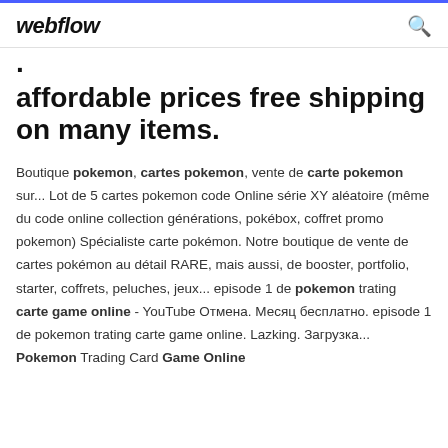webflow
affordable prices free shipping on many items.
Boutique pokemon, cartes pokemon, vente de carte pokemon sur... Lot de 5 cartes pokemon code Online série XY aléatoire (même du code online collection générations, pokébox, coffret promo pokemon) Spécialiste carte pokémon. Notre boutique de vente de cartes pokémon au détail RARE, mais aussi, de booster, portfolio, starter, coffrets, peluches, jeux... episode 1 de pokemon trating carte game online - YouTube Отмена. Месяц бесплатно. episode 1 de pokemon trating carte game online. Lazking. Загрузка... Pokemon Trading Card Game Online